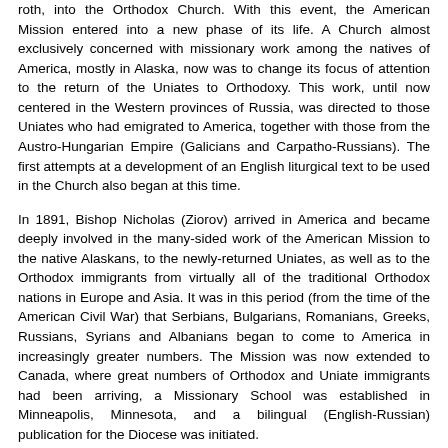roth, into the Orthodox Church. With this event, the American Mission entered into a new phase of its life. A Church almost exclusively concerned with missionary work among the natives of America, mostly in Alaska, now was to change its focus of attention to the return of the Uniates to Orthodoxy. This work, until now centered in the Western provinces of Russia, was directed to those Uniates who had emigrated to America, together with those from the Austro-Hungarian Empire (Galicians and Carpatho-Russians). The first attempts at a development of an English liturgical text to be used in the Church also began at this time.
In 1891, Bishop Nicholas (Ziorov) arrived in America and became deeply involved in the many-sided work of the American Mission to the native Alaskans, to the newly-returned Uniates, as well as to the Orthodox immigrants from virtually all of the traditional Orthodox nations in Europe and Asia. It was in this period (from the time of the American Civil War) that Serbians, Bulgarians, Romanians, Greeks, Russians, Syrians and Albanians began to come to America in increasingly greater numbers. The Mission was now extended to Canada, where great numbers of Orthodox and Uniate immigrants had been arriving, a Missionary School was established in Minneapolis, Minnesota, and a bilingual (English-Russian) publication for the Diocese was initiated.
In 1898, Bishop Tikhon (Bellavin) arrived to rule over the Church in America, and in his nine years of service in America, the Mission was brought to a